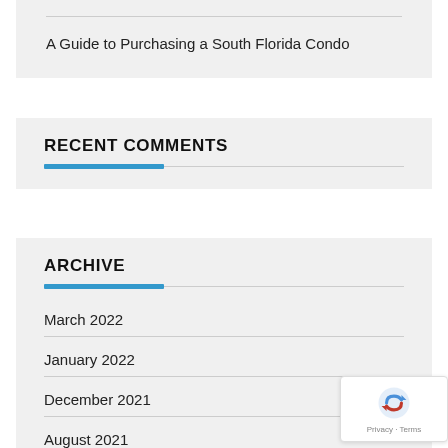A Guide to Purchasing a South Florida Condo
RECENT COMMENTS
ARCHIVE
March 2022
January 2022
December 2021
August 2021